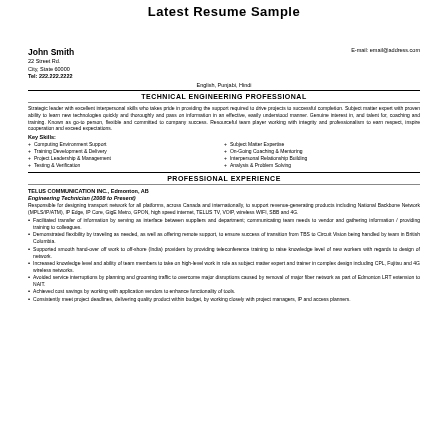Latest Resume Sample
John Smith
22 Street Rd.
City, State 60000
Tel: 222.222.2222
English, Punjabi, Hindi
E-mail: email@address.com
TECHNICAL ENGINEERING PROFESSIONAL
Strategic leader with excellent interpersonal skills who takes pride in providing the support required to drive projects to successful completion. Subject matter expert with proven ability to learn new technologies quickly and thoroughly and pass on information in an effective, easily understood manner. Genuine interest in, and talent for, coaching and training. Known as go-to person, flexible and committed to company success. Resourceful team player working with integrity and professionalism to earn respect, inspire cooperation and exceed expectations.
Key Skills:
Computing Environment Support
Training Development & Delivery
Project Leadership & Management
Testing & Verification
Subject Matter Expertise
On-Going Coaching & Mentoring
Interpersonal Relationship Building
Analysis & Problem Solving
PROFESSIONAL EXPERIENCE
TELUS COMMUNICATION INC., Edmonton, AB
Engineering Technician (2008 to Present)
Responsible for designing transport network for all platforms, across Canada and internationally, to support revenue-generating products including National Backbone Network (MPLS/IP/ATM), IP Edge, IP Core, GigE Metro, GPON, high speed internet, TELUS TV, VOIP, wireless WIFI, SBB and 4G.
Facilitated transfer of information by serving as interface between suppliers and department; communicating team needs to vendor and gathering information / providing training to colleagues.
Demonstrated flexibility by traveling as needed, as well as offering remote support, to ensure success of transition from TBS to Circuit Vision being handled by team in British Columbia.
Supported smooth hand-over off work to off-shore (India) providers by providing teleconference training to raise knowledge level of new workers with regards to design of network.
Increased knowledge level and ability of team members to take on high-level work in role as subject matter expert and trainer in complex design including CPL, Fujitsu and 4G wireless networks.
Avoided service interruptions by planning and grooming traffic to overcome major disruptions caused by removal of major fiber network as part of Edmonton LRT extension to NAIT.
Achieved cost savings by working with application vendors to enhance functionality of tools.
Consistently meet project deadlines, delivering quality product within budget, by working closely with project managers, IP and access planners.